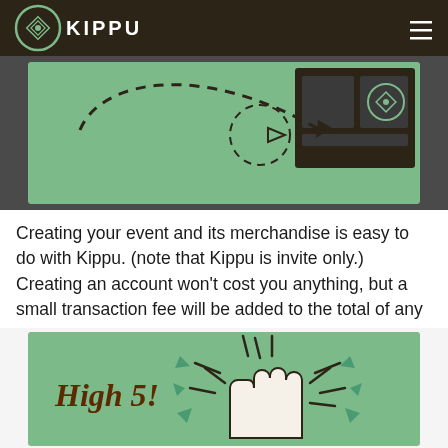[Figure (illustration): Kippu app navigation bar with logo (diamond pattern circle icon and KIPPU text) on dark brown background, hamburger menu icon on right]
[Figure (illustration): Green illustration showing a hand pointing at a screen with Kippu logo, connected by a dashed curved arrow path]
Creating your event and its merchandise is easy to do with Kippu. (note that Kippu is invite only.) Creating an account won't cost you anything, but a small transaction fee will be added to the total of any purchase in your shop.
[Figure (illustration): Green illustration with 'High 5!' text and two hands giving a high five with radiant lines around them]